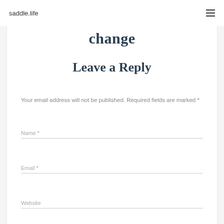saddle.life
change
Leave a Reply
Your email address will not be published. Required fields are marked *
Name *
Email *
Website